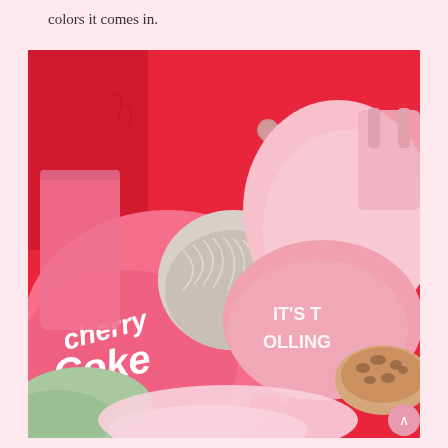colors it comes in.
[Figure (photo): A pile of pink and red clothing items including a Cherry Coke branded pink sweatshirt, a pink graphic tee reading 'IT'S T OLLING', a silver/metallic lace bralette, pink tote bags, a sage green item, and a leopard print pink hat, all arranged on a red background.]